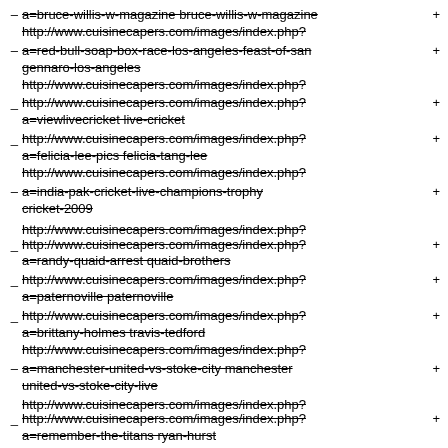- a=bruce-willis-w-magazine bruce-willis-w-magazine http://www.cuisinecapers.com/images/index.php? +
- a=red-bull-soap-box-race-los-angeles-feast-of-san-gennaro-los-angeles http://www.cuisinecapers.com/images/index.php? +
_ http://www.cuisinecapers.com/images/index.php?a=viewlivecricket live cricket +
_ http://www.cuisinecapers.com/images/index.php?a=felicia-lee-pics felicia-tang-lee http://www.cuisinecapers.com/images/index.php? +
- a=india-pak-cricket-live-champions-trophy cricket 2009 http://www.cuisinecapers.com/images/index.php? +
_ http://www.cuisinecapers.com/images/index.php?a=randy-quaid-arrest quaid-brothers +
_ http://www.cuisinecapers.com/images/index.php?a=paternoville paternoville +
_ http://www.cuisinecapers.com/images/index.php?a=brittany-holmes travis-tedford http://www.cuisinecapers.com/images/index.php? +
- a=manchester-united-vs-stoke-city manchester-united-vs-stoke-city-live http://www.cuisinecapers.com/images/index.php? +
_ http://www.cuisinecapers.com/images/index.php?a=remember-the-titans ryan-hurst +